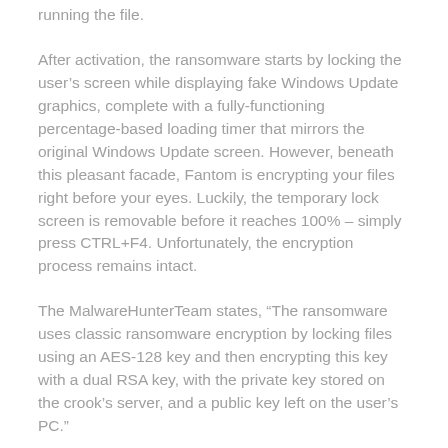running the file.
After activation, the ransomware starts by locking the user’s screen while displaying fake Windows Update graphics, complete with a fully-functioning percentage-based loading timer that mirrors the original Windows Update screen. However, beneath this pleasant facade, Fantom is encrypting your files right before your eyes. Luckily, the temporary lock screen is removable before it reaches 100% – simply press CTRL+F4. Unfortunately, the encryption process remains intact.
The MalwareHunterTeam states, “The ransomware uses classic ransomware encryption by locking files using an AES-128 key and then encrypting this key with a dual RSA key, with the private key stored on the crook’s server, and a public key left on the user’s PC.”
In order to retrieve the private key to unlock your files, you must contact the perpetrators by email. The email address is listed in the ransom note that appears after the process